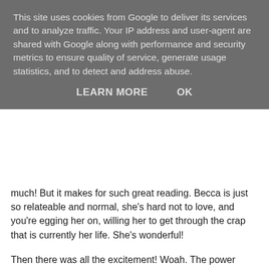This site uses cookies from Google to deliver its services and to analyze traffic. Your IP address and user-agent are shared with Google along with performance and security metrics to ensure quality of service, generate usage statistics, and to detect and address abuse.
LEARN MORE    OK
much! But it makes for such great reading. Becca is just so relateable and normal, she's hard not to love, and you're egging her on, willing her to get through the crap that is currently her life. She's wonderful!
Then there was all the excitement! Woah. The power these Merrick guys have is unbelievable! And when the Guide comes along and is shooting ligning at them and slamming wind into cars, and oh my god, people are in danger! This is edge of your seat stuff! I flew through the second half of the book when the action really started to pick up. Oh my word, it was just amazing! This is the kind of thing that needs to be on the big screens! I want to be an Elemental! I don't care which I have. I just want to do something awesome and fight